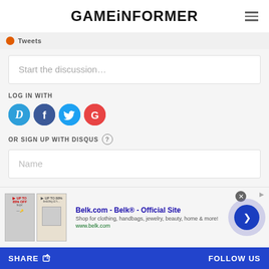GAMEINFORMER
Tweets
Start the discussion...
LOG IN WITH
[Figure (infographic): Social login icons: Disqus (D), Facebook (F), Twitter bird, Google (G)]
OR SIGN UP WITH DISQUS ?
Name
[Figure (infographic): Advertisement banner for Belk.com - Belk Official Site. Shop for clothing, handbags, jewelry, beauty, home & more! www.belk.com. Includes close button and navigation arrow.]
SHARE   FOLLOW US